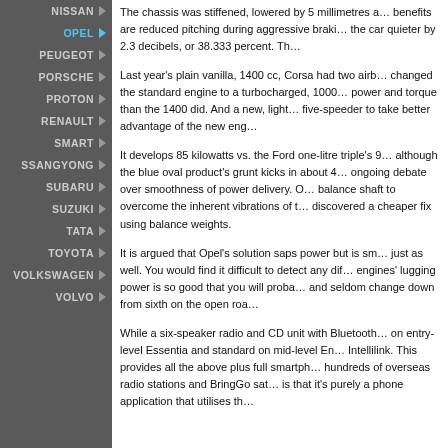NISSAN
OPEL
PEUGEOT
PORSCHE
PROTON
RENAULT
SMART
SSANGYONG
SUBARU
SUZUKI
TATA
TOYOTA
VOLKSWAGEN
VOLVO
The chassis was stiffened, lowered by 5 millimetres a… benefits are reduced pitching during aggressive braki… the car quieter by 2.3 decibels, or 38.333 percent. Th…
Last year's plain vanilla, 1400 cc, Corsa had two airb… changed the standard engine to a turbocharged, 1000… power and torque than the 1400 did. And a new, light… five-speeder to take better advantage of the new eng…
It develops 85 kilowatts vs. the Ford one-litre triple's 9… although the blue oval product's grunt kicks in about 4… ongoing debate over smoothness of power delivery. O… balance shaft to overcome the inherent vibrations of t… discovered a cheaper fix using balance weights.
It is argued that Opel's solution saps power but is sm… just as well. You would find it difficult to detect any dif… engines' lugging power is so good that you will proba… and seldom change down from sixth on the open roa…
While a six-speaker radio and CD unit with Bluetooth… on entry-level Essentia and standard on mid-level En… Intellilink. This provides all the above plus full smartph… hundreds of overseas radio stations and BringGo sat… is that it's purely a phone application that utilises th…